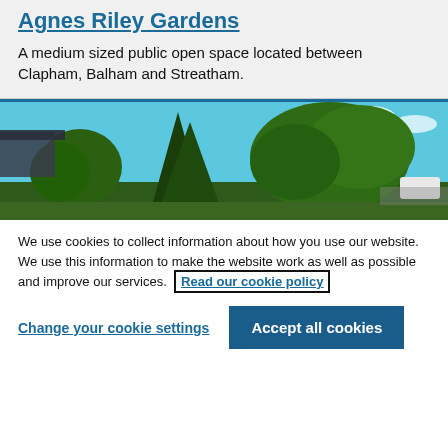Agnes Riley Gardens
A medium sized public open space located between Clapham, Balham and Streatham.
[Figure (photo): Photograph of Agnes Riley Gardens showing trees with green foliage against a bright blue sky, with a structure visible on the left.]
We use cookies to collect information about how you use our website. We use this information to make the website work as well as possible and improve our services.
Read our cookie policy
Change your cookie settings
Accept all cookies